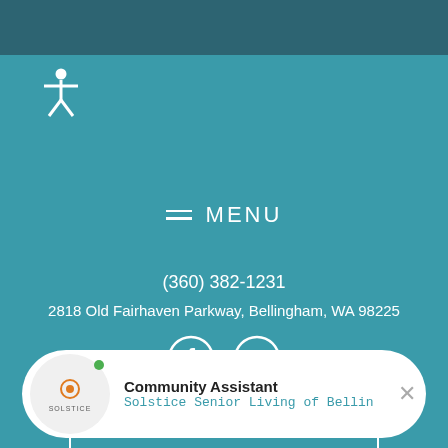[Figure (screenshot): Dark teal top navigation bar]
[Figure (illustration): White accessibility icon (stick figure with arms out)]
≡ MENU
(360) 382-1231
2818 Old Fairhaven Parkway, Bellingham, WA 98225
[Figure (illustration): Facebook and YouTube social media icons in white circles]
Newsletter Signup
Email
[Figure (illustration): Chat widget with Solstice logo, Community Assistant label, and subtitle 'Solstice Senior Living of Bellin']